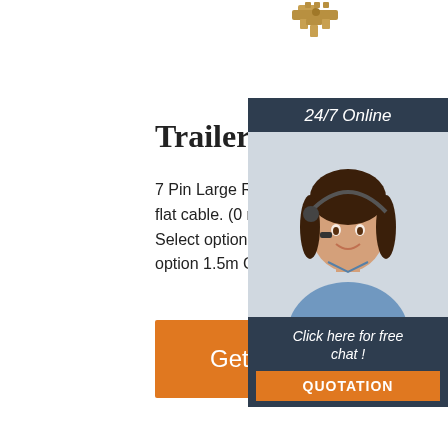[Figure (photo): Trailer connector hardware product shown at top center of page]
Trailer Connectors
7 Pin Large Round Boot Socket. Connected flat cable. (0 reviews) $47.25 – $ 49.40. Pi Select option Blister Bulk. Cable length. Se option 1.5m Clear. Warranty: 2 Years.
[Figure (photo): 24/7 Online customer service representative - woman with headset smiling]
Click here for free chat !
QUOTATION